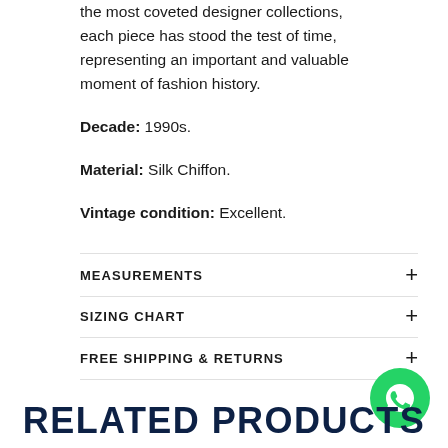the most coveted designer collections, each piece has stood the test of time, representing an important and valuable moment of fashion history.
Decade: 1990s.
Material: Silk Chiffon.
Vintage condition: Excellent.
MEASUREMENTS
SIZING CHART
FREE SHIPPING & RETURNS
RELATED PRODUCTS